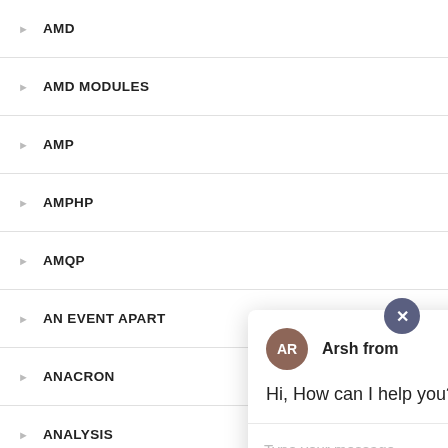AMD
AMD MODULES
AMP
AMPHP
AMQP
AN EVENT APART
ANACRON
ANALYSIS
ANALYTICS
[Figure (screenshot): Chat popup with avatar 'AR' for 'Arsh from', message 'Hi, How can I help you?', and a text input area with placeholder 'Type your message' and a send arrow button. A close (×) button appears at the top right of the popup area. A purple chat launcher button is at the bottom right.]